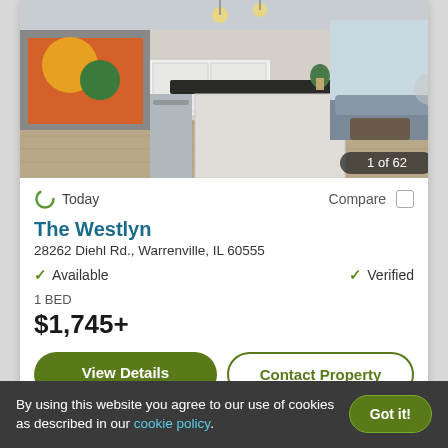[Figure (photo): Interior photo of a modern apartment kitchen/living area with white cabinets, dark countertop island, stainless steel appliances, and open plan living room visible in background. Shows '1 of 62' counter overlay.]
Today
Compare
The Westlyn
28262 Diehl Rd., Warrenville, IL 60555
Available
Verified
1 BED
$1,745+
View Details
Contact Property
By using this website you agree to our use of cookies as described in our cookie policy.
Got it!